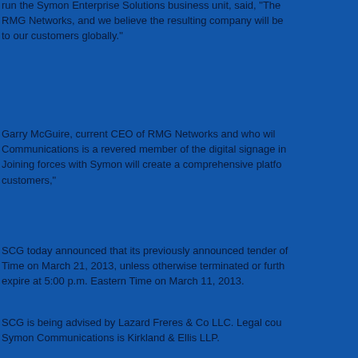run the Symon Enterprise Solutions business unit, said, "The RMG Networks, and we believe the resulting company will be to our customers globally."
Garry McGuire, current CEO of RMG Networks and who will Communications is a revered member of the digital signage in Joining forces with Symon will create a comprehensive platfo customers,"
SCG today announced that its previously announced tender of Time on March 21, 2013, unless otherwise terminated or furth expire at 5:00 p.m. Eastern Time on March 11, 2013.
SCG is being advised by Lazard Freres & Co LLC.  Legal cou Symon Communications is Kirkland & Ellis LLP.
About Symon Communications
Symon Communications helps organizations engage, inform a solutions. As the global leader in enterprise-class media applic million digital signs and displays, delivering real-time informa supply chain, employee communications, hospitality, retail an gives customers a single point of accountability for all visual c